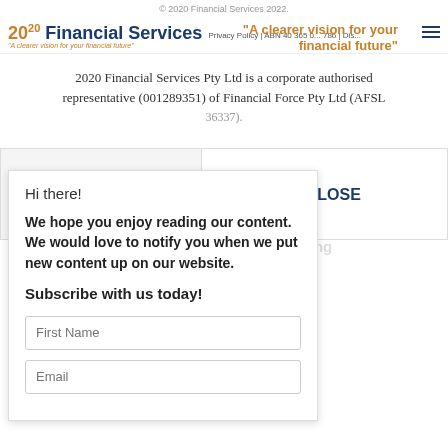© 2020 Financial Services 2022.
Privacy Policy | ABN 40 365 0... 786 | Financial...
[Figure (logo): 2020 Financial Services logo with tagline 'A clearer vision for your financial future']
"A clearer vision for your financial future"
2020 Financial Services Pty Ltd is a corporate authorised representative (001289351) of Financial Force Pty Ltd (AFSL 36337).
✕ CLOSE
General Advice Warning
All strategies and information provided on this website are general advice only which does not take into consideration any of your personal circumstances. Please arrange an appointment to seek personal financial, legal, credit and/or tax advice prior to acting on this information.
Hi there!
We hope you enjoy reading our content. We would love to notify you when we put new content up on our website.
Subscribe with us today!
First Name
Email